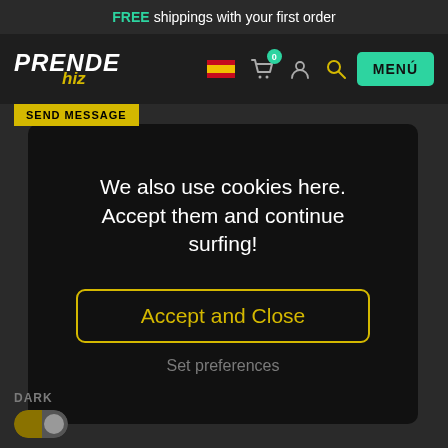FREE shippings with your first order
[Figure (screenshot): PrendeHiz website navigation bar with logo, Spanish flag, cart icon with badge showing 0, user icon, search icon, and MENÚ button]
SEND MESSAGE
We also use cookies here. Accept them and continue surfing!
Accept and Close
Set preferences
DARK